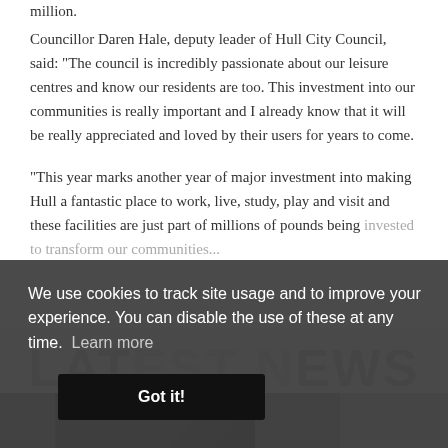million.
Councillor Daren Hale, deputy leader of Hull City Council, said: "The council is incredibly passionate about our leisure centres and know our residents are too. This investment into our communities is really important and I already know that it will be really appreciated and loved by their users for years to come.
"This year marks another year of major investment into making Hull a fantastic place to work, live, study, play and visit and these facilities are just part of millions of pounds being [obscured by cookie banner] our [obscured]
[Figure (screenshot): Cookie consent banner overlay with dark semi-transparent background. Text reads: 'We use cookies to track site usage and to improve your experience. You can disable the use of these at any time. Learn more' with a 'Got it!' button.]
[Figure (photo): Bottom section showing LATEST NEWS watermark text and a photo strip partially visible at the bottom of the page.]